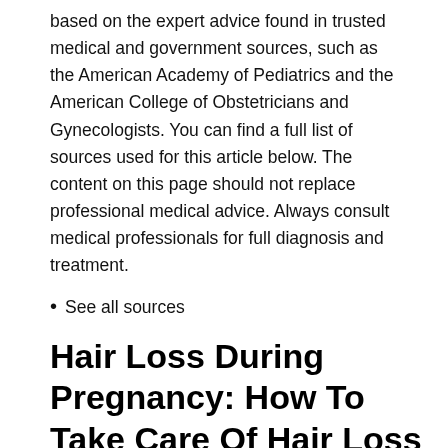based on the expert advice found in trusted medical and government sources, such as the American Academy of Pediatrics and the American College of Obstetricians and Gynecologists. You can find a full list of sources used for this article below. The content on this page should not replace professional medical advice. Always consult medical professionals for full diagnosis and treatment.
See all sources
Hair Loss During Pregnancy: How To Take Care Of Hair Loss In Pregnancy
[Figure (photo): Photo of a person's hair styled in two pom-pom buns viewed from behind, with a red arrow pointing to the top of the head/parting area. Watermark reads @IGBOCURLS.COM]